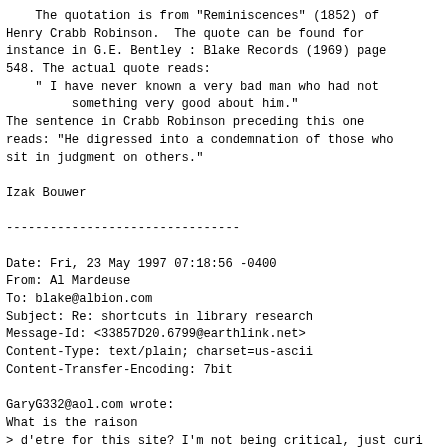The quotation is from "Reminiscences" (1852) of Henry Crabb Robinson.  The quote can be found for instance in G.E. Bentley : Blake Records (1969) page 548. The actual quote reads:
    " I have never known a very bad man who had not
         something very good about him."
The sentence in Crabb Robinson preceding this one reads: "He digressed into a condemnation of those who sit in judgment on others."

Izak Bouwer

--------------------------------

Date: Fri, 23 May 1997 07:18:56 -0400
From: Al Mardeuse
To: blake@albion.com
Subject: Re: shortcuts in library research
Message-Id: <33857D20.6799@earthlink.net>
Content-Type: text/plain; charset=us-ascii
Content-Transfer-Encoding: 7bit

GaryG332@aol.com wrote:
What is the raison
> d'etre for this site? I'm not being critical, just curi
>
> Gary Geoffrion
 As a new member of this site I can only say that it seem
that the raison d'etre for this site is the "love and app
Blake & his work" how much greater a passion do you ned t